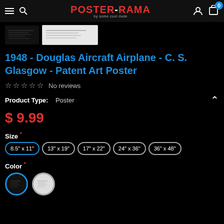Poster-Rama
[Figure (photo): Two small product thumbnail images of patent art poster]
1948 - Douglas Aircraft Airplane - C. S. Glasgow - Patent Art Poster
No reviews
Product Type: Poster
$ 9.99
Size * 8.5" x 11" 13" x 19" 17" x 22" 24" x 36" 36" x 48"
Color *